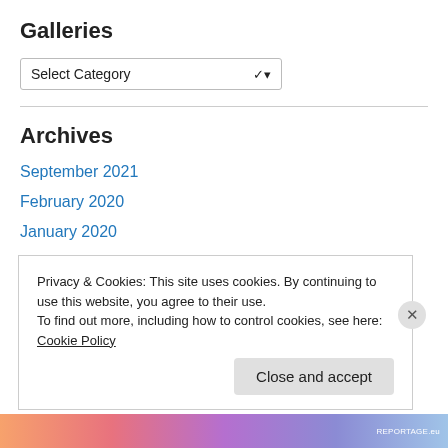Galleries
Select Category
Archives
September 2021
February 2020
January 2020
December 2019
November 2019
October 2019
June 2019
Privacy & Cookies: This site uses cookies. By continuing to use this website, you agree to their use.
To find out more, including how to control cookies, see here: Cookie Policy
Close and accept